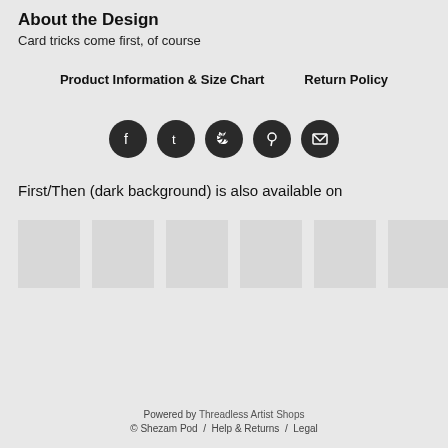About the Design
Card tricks come first, of course
Product Information & Size Chart      Return Policy
[Figure (illustration): Row of five social media icon buttons (Facebook, Tumblr, Twitter, Pinterest, Email) as dark circular icons]
First/Then (dark background) is also available on
[Figure (illustration): Six product thumbnail placeholder images in a row]
Powered by Threadless Artist Shops
© Shezam Pod  /  Help & Returns  /  Legal